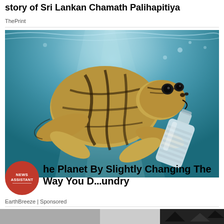story of Sri Lankan Chamath Palihapitiya
ThePrint
[Figure (photo): Underwater photo of a sea turtle biting or holding a plastic bottle, swimming in blue-green ocean water with light filtering from above.]
he Planet By Slightly Changing The Way You D...undry
EarthBreeze | Sponsored
[Figure (photo): Bottom strip showing a partially visible image, dark tones suggesting another article thumbnail.]